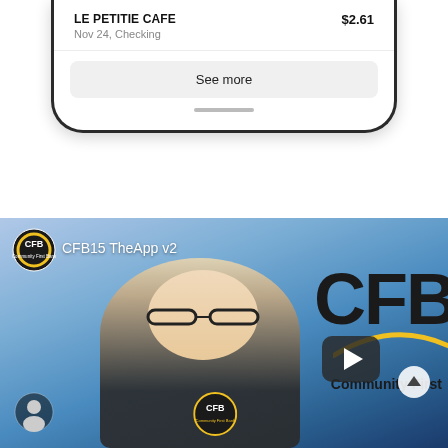[Figure (screenshot): Bottom portion of a mobile banking app screen showing a transaction for LE PETITIE CAFE for $2.61 on Nov 24 from Checking account, with a 'See more' button and home indicator bar.]
[Figure (screenshot): YouTube video thumbnail for 'CFB15 TheApp v2' showing a young blonde woman wearing glasses and a black shirt, with a CFB (Community First Bank) logo and branding, a YouTube play button overlay, and an up-arrow button.]